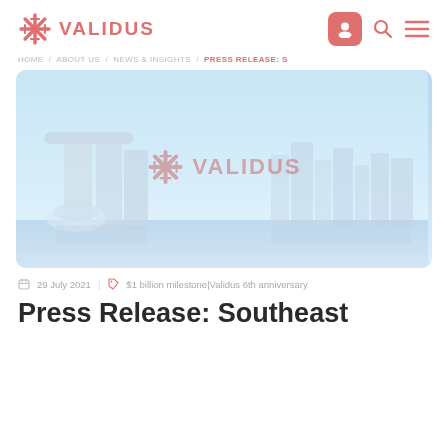VALIDUS — navigation bar with logo, user icon, search icon, menu icon
HOME / ABOUT US / NEWS & INSIGHTS / PRESS RELEASE: S
[Figure (photo): Hero image showing Singapore skyline (Marina Bay Sands) with a light blue sky. The Validus logo (snowflake asterisk + VALIDUS text) is overlaid as a watermark in the center of the image.]
29 July 2021 | $1 billion milestone|Validus 6th anniversary
Press Release: Southeast